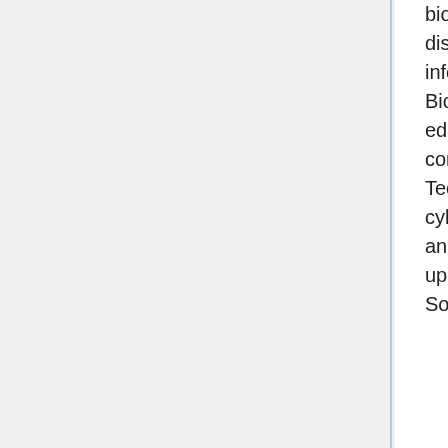bioinformatics software has facilitated rapid innovation and dissemination of new computational methods as well as informatics infrastructure. Since the work of the Open Source Bioinformatics Community represents some of the most cutting edge of Bioinformatics in general, the overall theme for the conference this year is "Tackling Hard Problems with Emerging Technologies". Topics under this umbrella include cyberinfrastructure, grid computing and workflow management and discovery, and visualization. We will also have a series of update talks about the main Open Source Bioinformatics Software suites.
One of the hallmarks of BOSC is the coming together of the open source developer community in one location. A face-to-face meeting of this community